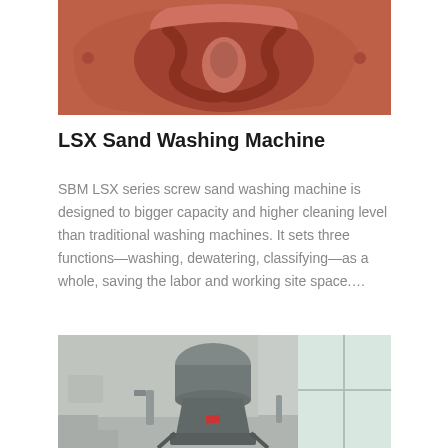[Figure (photo): Close-up interior view of a red/orange sand washing machine showing screw auger mechanism]
LSX Sand Washing Machine
SBM LSX series screw sand washing machine is designed to bigger capacity and higher cleaning level than traditional washing machines. It sets three functions—washing, dewatering, classifying—as a whole, saving the labor and working site space....
[Figure (photo): Industrial photo of a large grey cone crusher machine installed in a factory building]